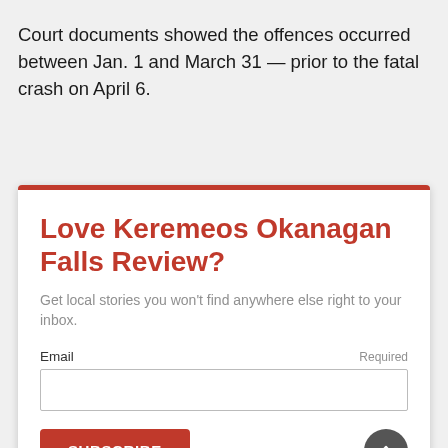Court documents showed the offences occurred between Jan. 1 and March 31 — prior to the fatal crash on April 6.
Love Keremeos Okanagan Falls Review?
Get local stories you won't find anywhere else right to your inbox.
Email  Required